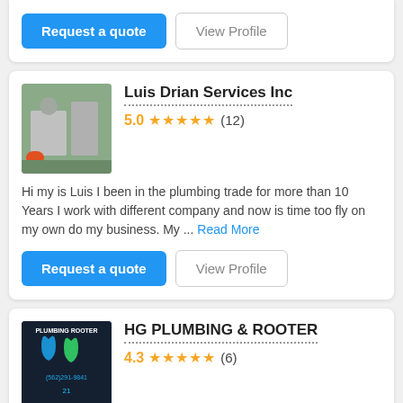[Figure (screenshot): Top card partial — Request a quote and View Profile buttons]
[Figure (photo): Luis Drian Services Inc profile photo showing worker with orange bucket near equipment]
Luis Drian Services Inc
5.0 ★★★★★ (12)
Hi my is Luis I been in the plumbing trade for more than 10 Years I work with different company and now is time too fly on my own do my business. My ... Read More
[Figure (logo): HG Plumbing & Rooter logo — dark background with water drop and phone number (562)291-9841]
HG PLUMBING & ROOTER
4.3 ★★★★★ (6)
Hire HG Plumbing if you need emergency plumbers in Artesia. This pro works with commercial and residential property owners. They provide plumbing... Read More